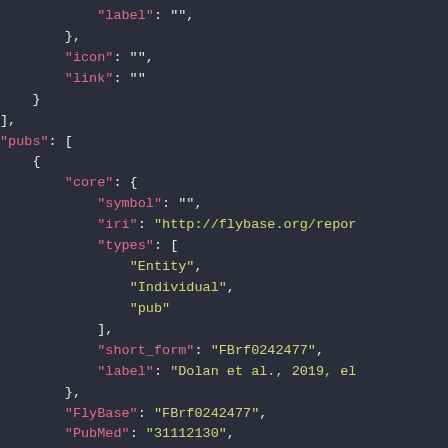JSON code snippet showing pubs array with core object containing symbol, iri, types, short_form, label fields, and FlyBase, PubMed, DOI fields